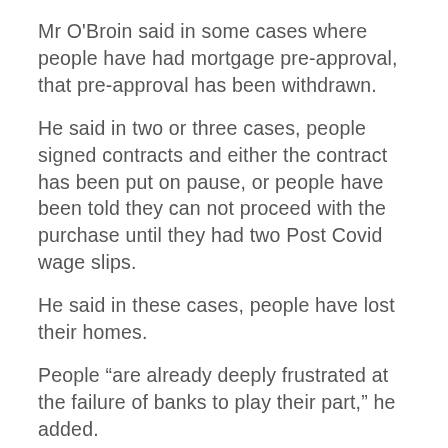Mr O'Broin said in some cases where people have had mortgage pre-approval, that pre-approval has been withdrawn.
He said in two or three cases, people signed contracts and either the contract has been put on pause, or people have been told they can not proceed with the purchase until they had two Post Covid wage slips.
He said in these cases, people have lost their homes.
People “are already deeply frustrated at the failure of banks to play their part,” he added.
He also accused the banks of looking after themselves and not looking after the needs of their customers.
Article Source: Click Here